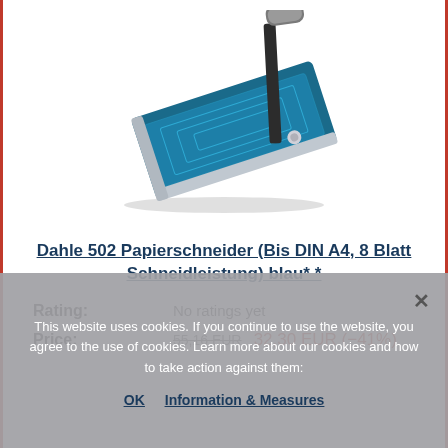[Figure (photo): Product photo of a blue Dahle 502 paper trimmer/cutter on white background]
Dahle 502 Papierschneider (Bis DIN A4, 8 Blatt Schneidleistung) blau* *
Rating: No ratings yet
Price: 55,16 EUR  32,30 EUR (−41%)
This website uses cookies. If you continue to use the website, you agree to the use of cookies. Learn more about our cookies and how to take action against them:
OK  Information & Measures